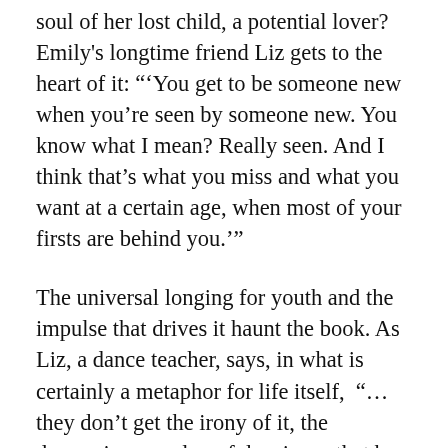What is Stella to her? A needed friend, the soul of her lost child, a potential lover? Emily's longtime friend Liz gets to the heart of it: "'You get to be someone new when you're seen by someone new. You know what I mean? Really seen. And I think that's what you miss and what you want at a certain age, when most of your firsts are behind you.'"
The universal longing for youth and the impulse that drives it haunt the book. As Liz, a dance teacher, says, in what is certainly a metaphor for life itself,  "…they don't get the irony of it, the depressing paradox of dancing—that by the time you have the emotional breadth and depth to fully express what you